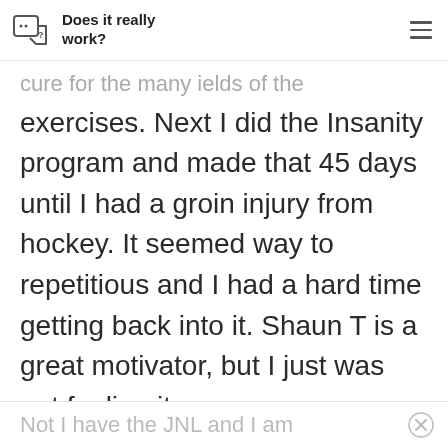Does it really work?
cure for the many ields of the exercises. Next I did the Insanity program and made that 45 days until I had a groin injury from hockey. It seemed way to repetitious and I had a hard time getting back into it. Shaun T is a great motivator, but I just was not feeling it.
Not I have the JNL and I am